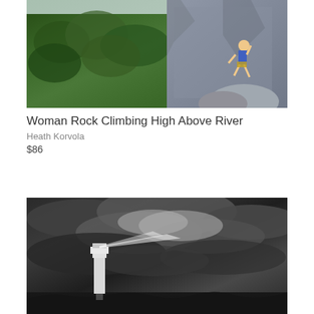[Figure (photo): Woman rock climbing high above a river valley with green trees below, on a granite rock face]
Woman Rock Climbing High Above River
Heath Korvola
$86
[Figure (photo): Black and white photo of a lighthouse on rocks under dramatic stormy cloudy sky, with beam of light visible]